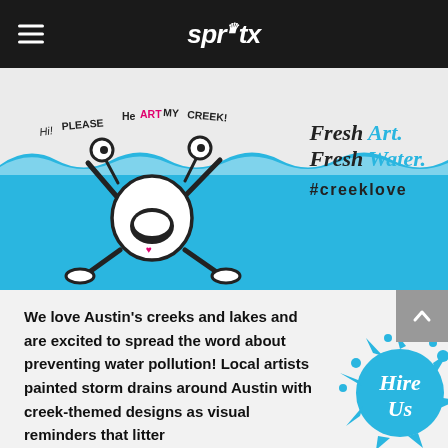spratx
[Figure (illustration): Hero banner with cartoon frog/creature character with text 'Hi! PLEASE HeART MY CREEK!' on left side and blue water background. Right side shows 'Fresh Art. Fresh Water. #creeklove' text on blue background with wave design.]
[Figure (illustration): 'Hire Us' splash badge in bottom right corner with cyan/blue ink splash graphic]
We love Austin's creeks and lakes and are excited to spread the word about preventing water pollution! Local artists painted storm drains around Austin with creek-themed designs as visual reminders that litter